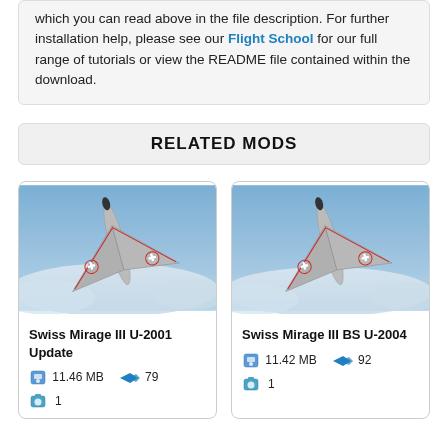which you can read above in the file description. For further installation help, please see our Flight School for our full range of tutorials or view the README file contained within the download.
RELATED MODS
[Figure (photo): Swiss Mirage III delta-wing jet fighter viewed from above, flying over clouds, with Swiss cross markings]
Swiss Mirage III U-2001 Update
11.46 MB   79
1
[Figure (photo): Swiss Mirage III BS delta-wing jet fighter viewed from above, flying over clouds, with Swiss cross markings]
Swiss Mirage III BS U-2004
11.42 MB   92
1